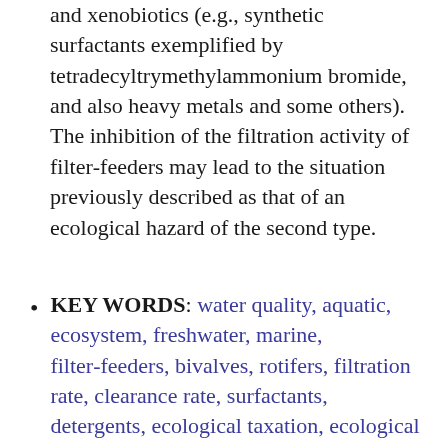and xenobiotics (e.g., synthetic surfactants exemplified by tetradecyltrymethylammonium bromide, and also heavy metals and some others). The inhibition of the filtration activity of filter-feeders may lead to the situation previously described as that of an ecological hazard of the second type.
KEY WORDS: water quality, aquatic, ecosystem, freshwater, marine, filter-feeders, bivalves, rotifers, filtration rate, clearance rate, surfactants, detergents, ecological taxation, ecological repair, chemical pollution, pollutants,